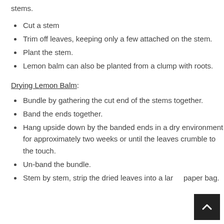stems.
Cut a stem
Trim off leaves, keeping only a few attached on the stem.
Plant the stem.
Lemon balm can also be planted from a clump with roots.
Drying Lemon Balm:
Bundle by gathering the cut end of the stems together.
Band the ends together.
Hang upside down by the banded ends in a dry environment for approximately two weeks or until the leaves crumble to the touch.
Un-band the bundle.
Stem by stem, strip the dried leaves into a large paper bag.